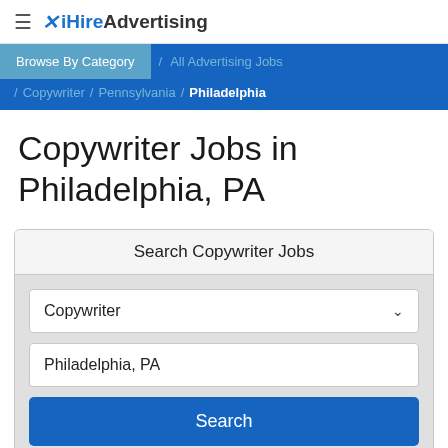≡ ✕ iHireAdvertising
Browse By Category / All Advertising Jobs / Copywriter / Pennsylvania / Philadelphia
Copywriter Jobs in Philadelphia, PA
Search Copywriter Jobs
Copywriter
Philadelphia, PA
Search